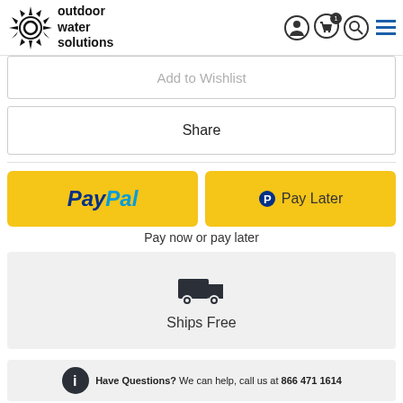[Figure (logo): Outdoor Water Solutions logo with sunburst icon and text]
Add to Wishlist
Share
[Figure (other): PayPal payment buttons: PayPal and Pay Later, both with yellow background]
Pay now or pay later
[Figure (other): Ships Free section with truck icon]
Ships Free
Have Questions? We can help, call us at 866 471 1614